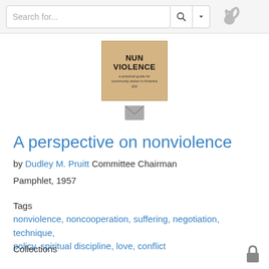Search for...
[Figure (illustration): Book cover for 'NUN VIOLENCE: a practical guide for community action in America, 25c' with tan/beige background]
A perspective on nonviolence
by Dudley M. Pruitt Committee Chairman
Pamphlet, 1957
Tags
nonviolence, noncooperation, suffering, negotiation, technique, policy, spiritual discipline, love, conflict
Collections
P - Peace, war, nonviolence, Your library
Barcode
1742
Status